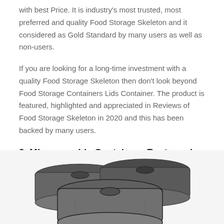with best Price. It is industry's most trusted, most preferred and quality Food Storage Skeleton and it considered as Gold Standard by many users as well as non-users.
If you are looking for a long-time investment with a quality Food Storage Skeleton then don't look beyond Food Storage Containers Lids Container. The product is featured, highlighted and appreciated in Reviews of Food Storage Skeleton in 2020 and this has been backed by many users.
3. Microwavable Containers Rectangular Bpa Free Dishwasher
[Figure (photo): Photo of microwavable rectangular food storage containers with lids, shown in black and white at the bottom of the page]